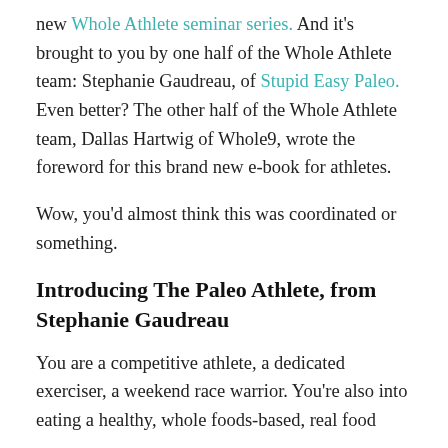new Whole Athlete seminar series. And it's brought to you by one half of the Whole Athlete team: Stephanie Gaudreau, of Stupid Easy Paleo. Even better? The other half of the Whole Athlete team, Dallas Hartwig of Whole9, wrote the foreword for this brand new e-book for athletes.
Wow, you'd almost think this was coordinated or something.
Introducing The Paleo Athlete, from Stephanie Gaudreau
You are a competitive athlete, a dedicated exerciser, a weekend race warrior. You're also into eating a healthy, whole foods-based, real food